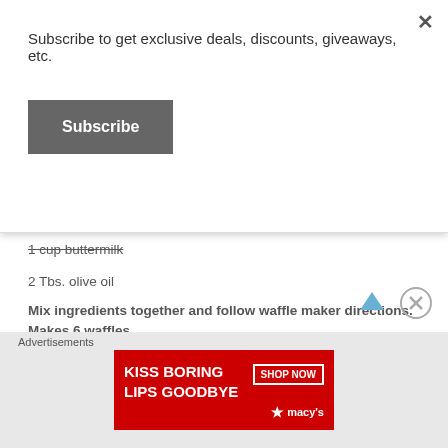Subscribe to get exclusive deals, discounts, giveaways, etc.
Subscribe
1 cup buttermilk
2 Tbs. olive oil
Mix ingredients together and follow waffle maker directions. Makes 6 waffles.
5. Choose healthy fast foods
Despite our best efforts, sometimes we do forget the snacks at home and find ourselves with a car full of hungry kiddos with back-to-back extracurricular activities. A fast-food chain might be your only option. When this happens seek heathier choices, like Chick-fil-a grilled nuggets,
Advertisements
[Figure (photo): Macy's advertisement banner: KISS BORING LIPS GOODBYE with SHOP NOW button and Macy's star logo]